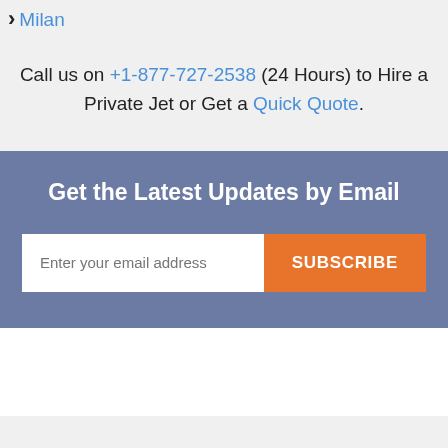› Milan
Call us on +1-877-727-2538 (24 Hours) to Hire a Private Jet or Get a Quick Quote.
Get the Latest Updates by Email
Enter your email address  SUBSCRIBE